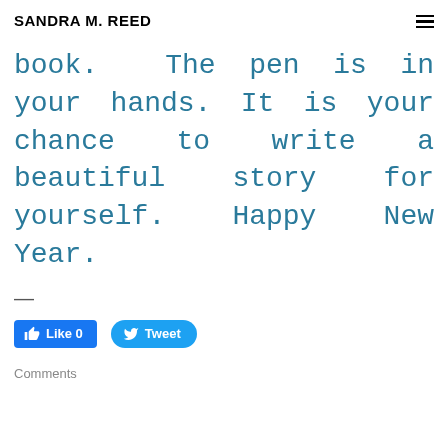SANDRA M. REED
book.  The pen is in your hands. It is your chance to write a beautiful story for yourself. Happy New Year.
—
[Figure (other): Facebook Like button (Like 0) and Twitter Tweet button]
Comments